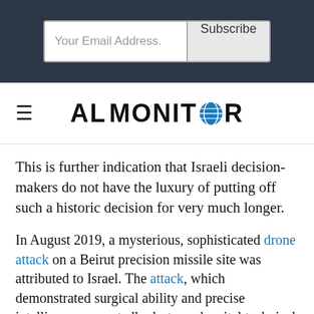[Figure (screenshot): Email subscription bar with 'Your Email Address.' input field and 'Subscribe' button on dark background]
[Figure (logo): AL-MONITOR logo with globe icon replacing the O, navigation hamburger menu on left]
This is further indication that Israeli decision-makers do not have the luxury of putting off such a historic decision for very much longer.
In August 2019, a mysterious, sophisticated drone attack on a Beirut precision missile site was attributed to Israel. The attack, which demonstrated surgical ability and precise intelligence, reportedly destroyed a vital technical component of the kits used to upgrade Hezbollah's rockets. Since then, however, the precision technology has become